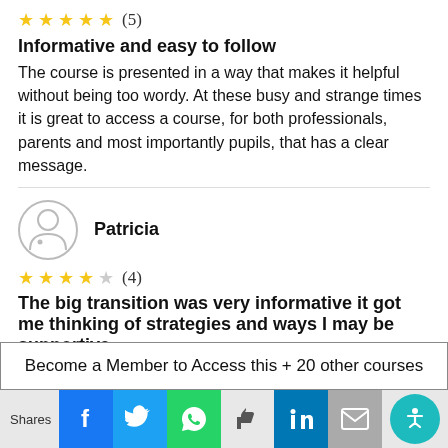[Figure (other): 5 stars rating (5)]
Informative and easy to follow
The course is presented in a way that makes it helpful without being too wordy. At these busy and strange times it is great to access a course, for both professionals, parents and most importantly pupils, that has a clear message.
[Figure (illustration): User avatar icon for Patricia]
Patricia
[Figure (other): 4 stars rating (4)]
The big transition was very informative it got me thinking of strategies and ways I may be supportive.
The text was clear and conveyed the information
Become a Member to Access this + 20 other courses
Shares | Facebook | Twitter | WhatsApp | Like | LinkedIn | Mail | Accessibility